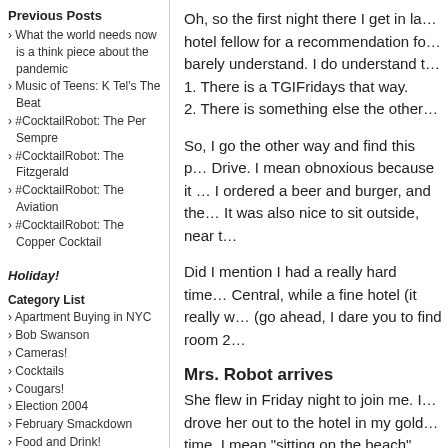Previous Posts
What the world needs now is a think piece about the pandemic
Music of Teens: K Tel's The Beat
#CocktailRobot: The Per Sempre
#CocktailRobot: The Fitzgerald
#CocktailRobot: The Aviation
#CocktailRobot: The Copper Cocktail
Holiday!
Category List
Apartment Buying in NYC
Bob Swanson
Cameras!
Cocktails
Cougars!
Election 2004
February Smackdown
Food and Drink!
Group Topics
Holiday!
I heart Brooklyn
Lists of things
Out of Context SMS
Rejected Love Stinks stories
Site News
Snap Wrap
Things I've Owned
This I believe
Oh, so the first night there I get in la… hotel fellow for a recommendation fo… barely understand. I do understand t… 1. There is a TGIFridays that way. 2. There is something else the other…
So, I go the other way and find this p… Drive. I mean obnoxious because it … I ordered a beer and burger, and the… It was also nice to sit outside, near t…
Did I mention I had a really hard time… Central, while a fine hotel (it really w… (go ahead, I dare you to find room 2…
Mrs. Robot arrives
She flew in Friday night to join me. I… drove her out to the hotel in my gold… time. I mean "sitting on the beach"…